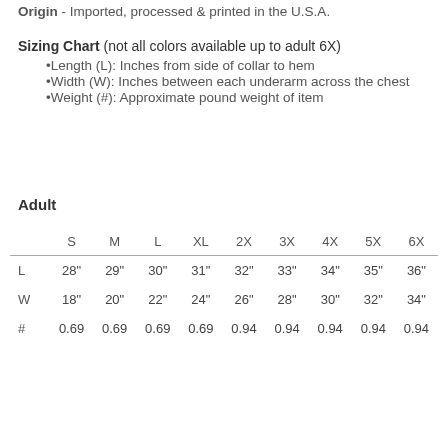Origin - Imported, processed & printed in the U.S.A.
Sizing Chart (not all colors available up to adult 6X)
•Length (L): Inches from side of collar to hem
•Width (W): Inches between each underarm across the chest
•Weight (#): Approximate pound weight of item
Adult
|  | S | M | L | XL | 2X | 3X | 4X | 5X | 6X |
| --- | --- | --- | --- | --- | --- | --- | --- | --- | --- |
| L | 28" | 29" | 30" | 31" | 32" | 33" | 34" | 35" | 36" |
| W | 18" | 20" | 22" | 24" | 26" | 28" | 30" | 32" | 34" |
| # | 0.69 | 0.69 | 0.69 | 0.69 | 0.94 | 0.94 | 0.94 | 0.94 | 0.94 |